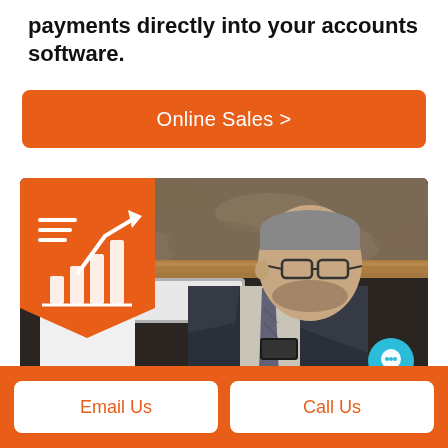payments directly into your accounts software.
Online Sales >
[Figure (photo): Business man in suit and glasses looking at a laptop and holding a phone, with a stone wall background and an orange bar chart icon overlay in the top-left corner, and a teal chat button in the bottom-right corner.]
Email Us
Call Us